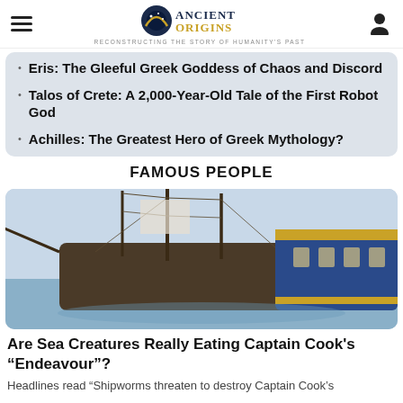Ancient Origins — Reconstructing the story of humanity's past
Eris: The Gleeful Greek Goddess of Chaos and Discord
Talos of Crete: A 2,000-Year-Old Tale of the First Robot God
Achilles: The Greatest Hero of Greek Mythology?
FAMOUS PEOPLE
[Figure (photo): Photo of a large wooden sailing ship (tall ship) docked or at anchor, showing detailed rigging, masts, and ornate blue and gold stern]
Are Sea Creatures Really Eating Captain Cook's “Endeavour”?
Headlines read “Shipworms threaten to destroy Captain Cook’s